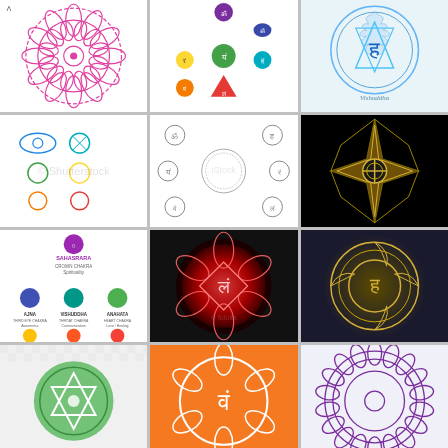[Figure (illustration): Crown chakra mandala with pink/magenta lotus petal outline design on white background, with a dot in the center]
[Figure (illustration): Seven chakra symbols arranged in a vertical cluster: purple crown, blue third eye, teal throat, green heart, yellow solar plexus, orange sacral, red root]
[Figure (illustration): Throat chakra symbol with Sanskrit letter in blue/teal watercolor style on light blue background]
[Figure (illustration): Seven chakra symbols in colorful outlines: blue eye shape third eye, teal throat, green heart, yellow solar plexus, orange sacral, red root, with watermark]
[Figure (illustration): Seven chakra symbols in black outline coloring page style arranged around central mandala circle]
[Figure (illustration): Gold eight-pointed star geometric symbol on black background]
[Figure (illustration): Chakra diagram chart on white background showing SAHASRARA at top in purple with AJNA, VISHUDDHA, ANAHATA and other chakra names labeled]
[Figure (illustration): Root chakra Muladhara glowing red on dark black background with lotus petals and Sanskrit symbol]
[Figure (illustration): Gold ornate chakra symbol on dark navy background with circular mandala design]
[Figure (illustration): Green heart chakra Anahata circle symbol with triangle on gray checkered background]
[Figure (illustration): White chakra symbol with Sanskrit letter on bright orange background]
[Figure (illustration): Purple crown chakra Sahasrara lotus mandala outline on light background]